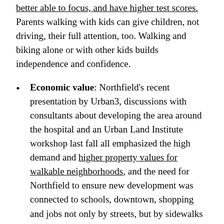better able to focus, and have higher test scores. Parents walking with kids can give children, not driving, their full attention, too. Walking and biking alone or with other kids builds independence and confidence.
Economic value: Northfield's recent presentation by Urban3, discussions with consultants about developing the area around the hospital and an Urban Land Institute workshop last fall all emphasized the high demand and higher property values for walkable neighborhoods, and the need for Northfield to ensure new development was connected to schools, downtown, shopping and jobs not only by streets, but by sidewalks and bike trails. And walking can help family reduce the amount they have to pay for transportation from less gas to being able to have one fewer vehicles.
Public health benefits: Building for and promoting walking is a great, low cost way to start to reverse the